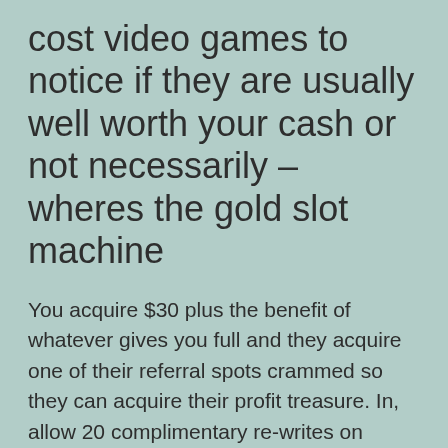cost video games to notice if they are usually well worth your cash or not necessarily – wheres the gold slot machine
You acquire $30 plus the benefit of whatever gives you full and they acquire one of their referral spots crammed so they can acquire their profit treasure. In, allow 20 complimentary re-writes on NetEnt's grand Starburst spots british isles! Nintendo 3DS i9000 let us people